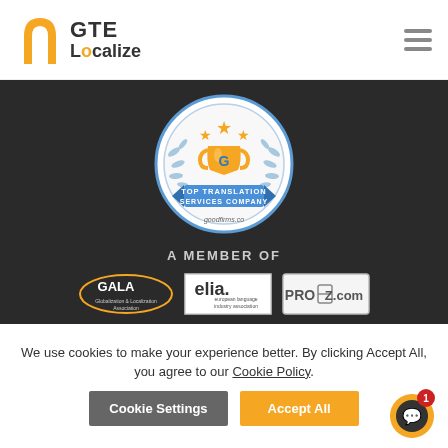[Figure (logo): GTE Localize logo with orange arch/pin icon and dark text]
[Figure (illustration): GoodFirms Top Translation Services Company award badge — circular badge with gold trophy, blue ribbon, stars, laurel wreath]
A MEMBER OF
[Figure (logo): GALA (Globalization & Localization Association) logo in dark oval]
[Figure (logo): elia european language industry association logo in white box]
[Figure (logo): ProZ.com logo in outlined box]
We use cookies to make your experience better. By clicking Accept All, you agree to our Cookie Policy.
Cookie Settings
Accept All